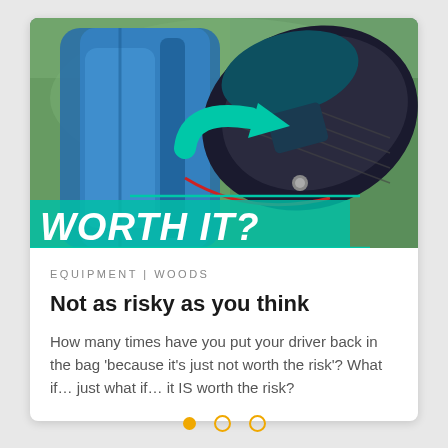[Figure (photo): Close-up photo of a Mizuno ST golf driver club head resting in a golf bag, with a teal/turquoise arrow graphic and 'WORTH IT?' text overlay]
EQUIPMENT | WOODS
Not as risky as you think
How many times have you put your driver back in the bag 'because it's just not worth the risk'? What if… just what if… it IS worth the risk?